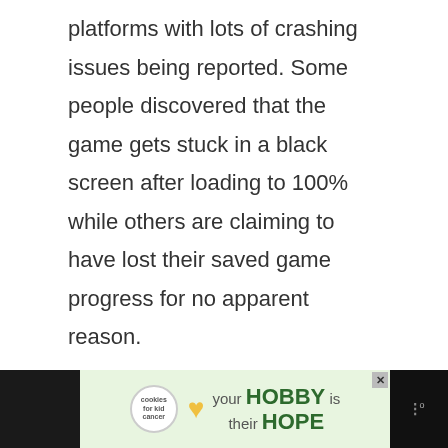platforms with lots of crashing issues being reported. Some people discovered that the game gets stuck in a black screen after loading to 100% while others are claiming to have lost their saved game progress for no apparent reason.
In this troubleshooting guide, we'll try to explain why these issues occur and what you can do fix them.
[Figure (other): Advertisement banner at the bottom of the page. Shows 'cookies for kid cancer' logo on left, a green advertisement with 'your HOBBY is their HOPE' text in center, and a speaker/menu icon on the right.]